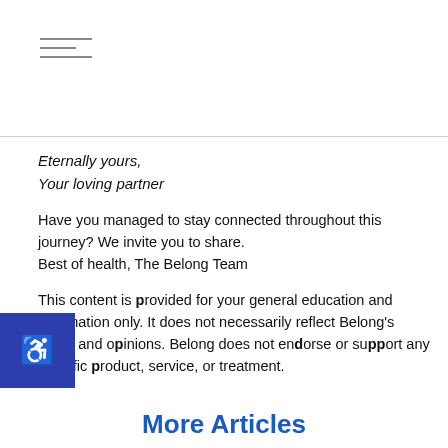[Figure (other): Hamburger menu icon with three horizontal lines]
Eternally yours,
Your loving partner
Have you managed to stay connected throughout this journey? We invite you to share.
Best of health, The Belong Team
This content is provided for your general education and information only. It does not necessarily reflect Belong's views and opinions. Belong does not endorse or support any specific product, service, or treatment.
More Articles